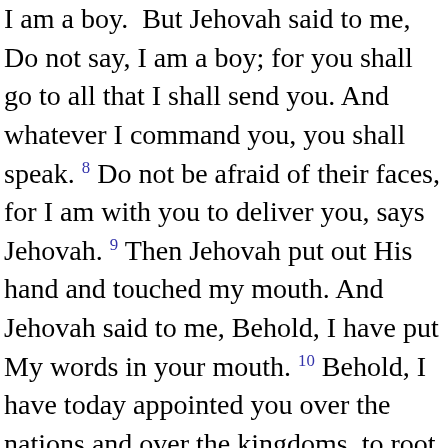I am a boy. But Jehovah said to me, Do not say, I am a boy; for you shall go to all that I shall send you. And whatever I command you, you shall speak. 8 Do not be afraid of their faces, for I am with you to deliver you, says Jehovah. 9 Then Jehovah put out His hand and touched my mouth. And Jehovah said to me, Behold, I have put My words in your mouth. 10 Behold, I have today appointed you over the nations and over the kingdoms, to root out, and to tear down, and to destroy, and to throw down, to build, and to plant. 11 And was the word of Jehovah to me, saying, Jeremiah, what do you see? And I said, I see an almond rod. 12 Then Jehovah said to me, You